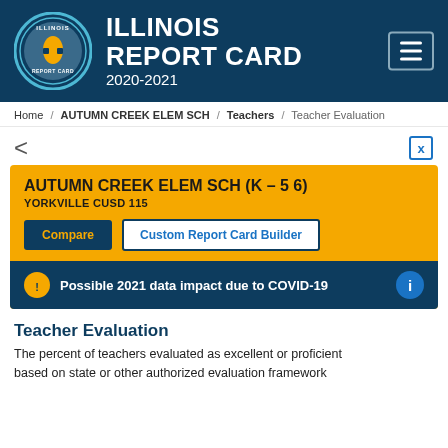ILLINOIS REPORT CARD 2020-2021
Home / AUTUMN CREEK ELEM SCH / Teachers / Teacher Evaluation
[Figure (screenshot): School info card for AUTUMN CREEK ELEM SCH (K - 5 6), YORKVILLE CUSD 115, with Compare and Custom Report Card Builder buttons, and a COVID-19 data impact warning banner]
Teacher Evaluation
The percent of teachers evaluated as excellent or proficient based on state or other authorized evaluation framework